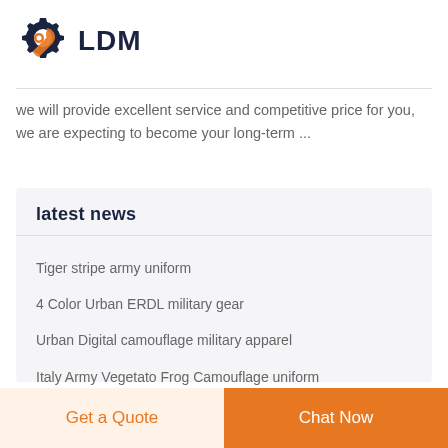[Figure (logo): LDM company logo with gear icon (dark navy) and orange wrench/key accent, with bold text LDM]
we will provide excellent service and competitive price for you, we are expecting to become your long-term ...
latest news
Tiger stripe army uniform
4 Color Urban ERDL military gear
Urban Digital camouflage military apparel
Italy Army Vegetato Frog Camouflage uniform